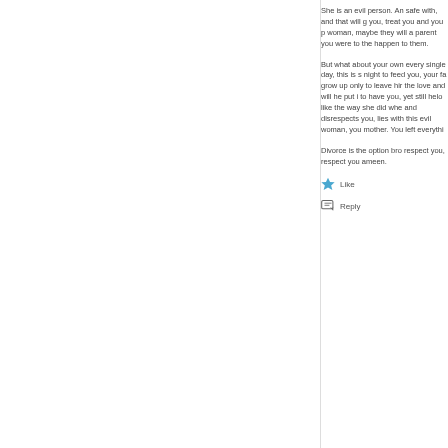She is an evil person. An safe with, and that will g you, treat you and you p woman, maybe they will a parent you were to the happen to them.
But what about your own every single day, this is s night to feed you, your fa grow up only to leave hir the love and will he put i to have you, yet still helo like the way she did whe and disrespects you, lies with this evil woman, you mother. You left everythi
Divorce is the option bro respect you, respect you ameen.
[Figure (other): Blue star icon followed by Like button]
[Figure (other): Reply icon followed by Reply button]